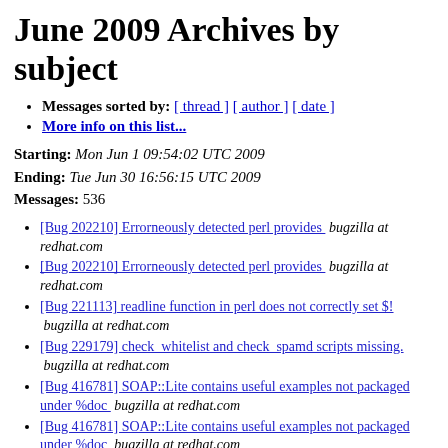June 2009 Archives by subject
Messages sorted by: [ thread ] [ author ] [ date ]
More info on this list...
Starting: Mon Jun 1 09:54:02 UTC 2009
Ending: Tue Jun 30 16:56:15 UTC 2009
Messages: 536
[Bug 202210] Errorneously detected perl provides  bugzilla at redhat.com
[Bug 202210] Errorneously detected perl provides  bugzilla at redhat.com
[Bug 221113] readline function in perl does not correctly set $!  bugzilla at redhat.com
[Bug 229179] check_whitelist and check_spamd scripts missing.  bugzilla at redhat.com
[Bug 416781] SOAP::Lite contains useful examples not packaged under %doc  bugzilla at redhat.com
[Bug 416781] SOAP::Lite contains useful examples not packaged under %doc  bugzilla at redhat.com
[Bug 416781] SOAP::Lite contains useful examples not packaged under %doc  bugzilla at redhat.com
[Bug 416781] SOAP::Lite contains useful examples not...